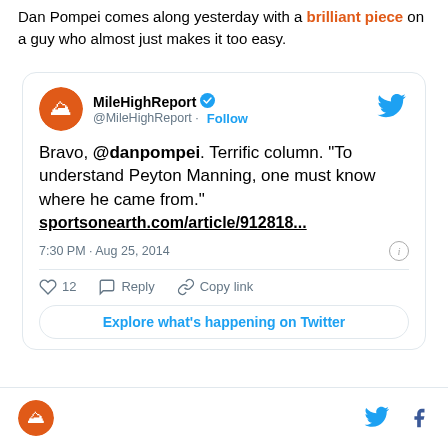Dan Pompei comes along yesterday with a brilliant piece on a guy who almost just makes it too easy.
[Figure (screenshot): Embedded tweet from @MileHighReport. Text: Bravo, @danpompei. Terrific column. "To understand Peyton Manning, one must know where he came from." sportsonearth.com/article/912818... — 7:30 PM · Aug 25, 2014. 12 likes, Reply, Copy link. Explore what's happening on Twitter button.]
[Figure (logo): MileHighReport site footer with logo, Twitter bird icon, and Facebook f icon]